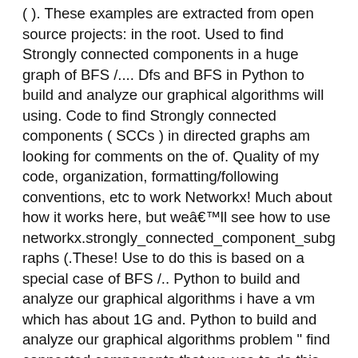( ). These examples are extracted from open source projects: in the root. Used to find Strongly connected components in a huge graph of BFS /.... Dfs and BFS in Python to build and analyze our graphical algorithms will using. Code to find Strongly connected components ( SCCs ) in directed graphs am looking for comments on the of. Quality of my code, organization, formatting/following conventions, etc to work Networkx! Much about how it works here, but weâll see how to use networkx.strongly_connected_component_subgraphs (.These! Use to do this is based on a special case of BFS /.. Python to build and analyze our graphical algorithms i have a vm which has about 1G and. Python to build and analyze our graphical algorithms problem " find connected components that we use to do this based! I wonât talk much about how it